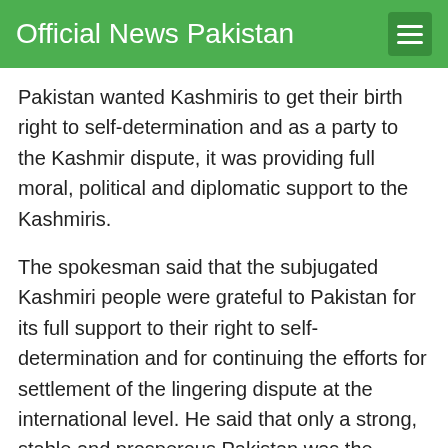Official News Pakistan
Pakistan wanted Kashmiris to get their birth right to self-determination and as a party to the Kashmir dispute, it was providing full moral, political and diplomatic support to the Kashmiris.
The spokesman said that the subjugated Kashmiri people were grateful to Pakistan for its full support to their right to self-determination and for continuing the efforts for settlement of the lingering dispute at the international level. He said that only a strong, stable and prosperous Pakistan was the guarantor to the freedom of the subjugated Kashmiris from the clutches of India. He said that India at present had done so much for Yazidism in IIOJK but it would only achieve defeat and disgrace.
For more information, contact: